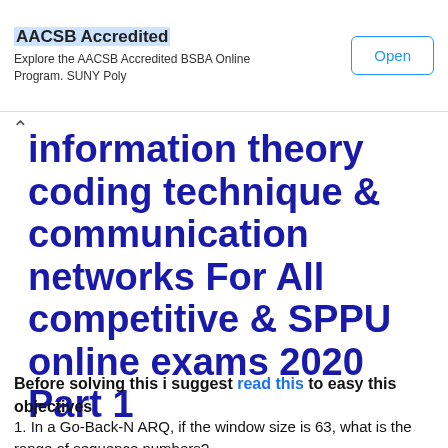AACSB Accredited — Explore the AACSB Accredited BSBA Online Program. SUNY Poly — Open
information theory coding technique & communication networks For All competitive & SPPU online exams 2020 Part 1
Before solving this i suggest read this to easy this objectives
1. In a Go-Back-N ARQ, if the window size is 63, what is the range of sequence numbers?